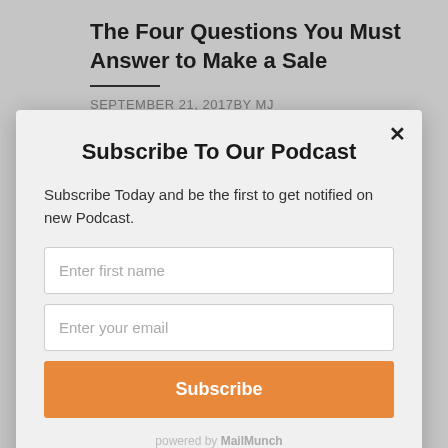The Four Questions You Must Answer to Make a Sale
SEPTEMBER 21, 2017BY MJ
Subscribe To Our Podcast
Subscribe Today and be the first to get notified on new Podcast.
Enter first name
Enter your email
Subscribe
powered by MailMunch